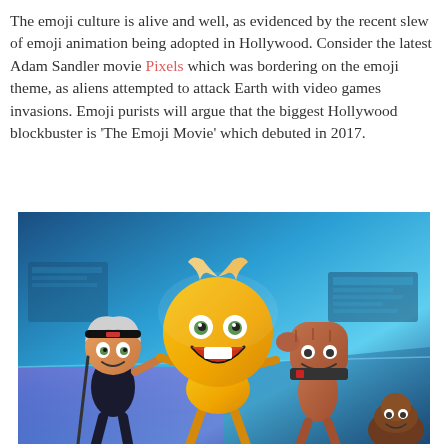The emoji culture is alive and well, as evidenced by the recent slew of emoji animation being adopted in Hollywood. Consider the latest Adam Sandler movie Pixels which was bordering on the emoji theme, as aliens attempted to attack Earth with video games invasions. Emoji purists will argue that the biggest Hollywood blockbuster is 'The Emoji Movie' which debuted in 2017.
[Figure (photo): Scene from The Emoji Movie showing animated characters: a girl emoji character with headband, the main smiley face emoji character (Gene), a hand emoji, and a poop emoji, all in a colorful blue digital world setting.]